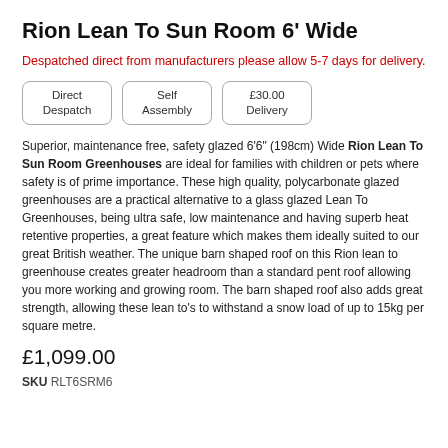Rion Lean To Sun Room 6' Wide
Despatched direct from manufacturers please allow 5-7 days for delivery.
[Figure (infographic): Three badge icons: Direct Despatch, Self Assembly, £30.00 Delivery]
Superior, maintenance free, safety glazed 6'6" (198cm) Wide Rion Lean To Sun Room Greenhouses are ideal for families with children or pets where safety is of prime importance. These high quality, polycarbonate glazed greenhouses are a practical alternative to a glass glazed Lean To Greenhouses, being ultra safe, low maintenance and having superb heat retentive properties, a great feature which makes them ideally suited to our great British weather. The unique barn shaped roof on this Rion lean to greenhouse creates greater headroom than a standard pent roof allowing you more working and growing room. The barn shaped roof also adds great strength, allowing these lean to's to withstand a snow load of up to 15kg per square metre.
£1,099.00
SKU RLT6SRM6